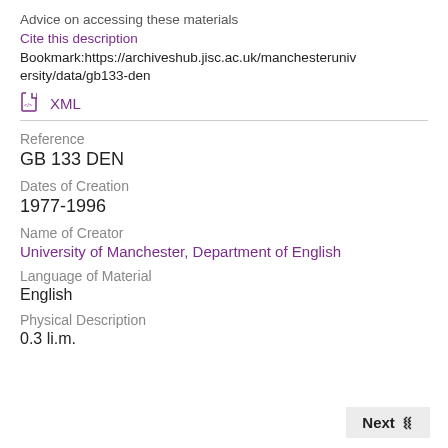Advice on accessing these materials
Cite this description
Bookmark:https://archiveshub.jisc.ac.uk/manchiveruniversity/data/gb133-den
XML
Reference
GB 133 DEN
Dates of Creation
1977-1996
Name of Creator
University of Manchester, Department of English
Language of Material
English
Physical Description
0.3 li.m.
Next »